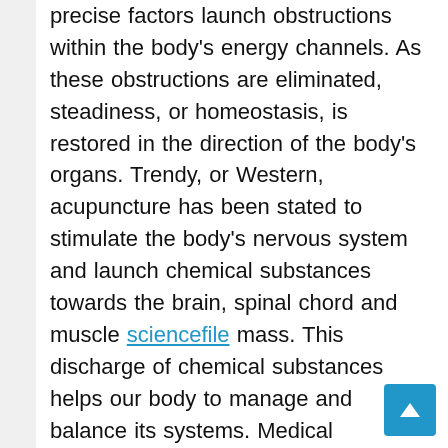precise factors launch obstructions within the body's energy channels. As these obstructions are eliminated, steadiness, or homeostasis, is restored in the direction of the body's organs. Trendy, or Western, acupuncture has been stated to stimulate the body's nervous system and launch chemical substances towards the brain, spinal chord and muscle sciencefile mass. This discharge of chemical substances helps our body to manage and balance its systems. Medical acupuncture is conducted with a physician who's had specialized coaching in acupuncture. Acupuncture can be used in holistic medication to stop illness, promote wellness and treat continual health conditions equivalent to gastritis, asthma, headaches and reproductive issues.